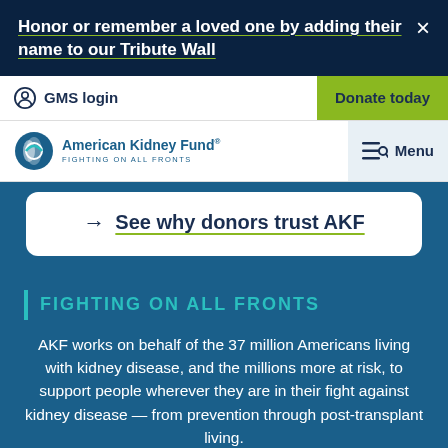Honor or remember a loved one by adding their name to our Tribute Wall
GMS login | Donate today
[Figure (logo): American Kidney Fund logo with tagline FIGHTING ON ALL FRONTS, and a hamburger/search menu icon labeled Menu]
→ See why donors trust AKF
| FIGHTING ON ALL FRONTS
AKF works on behalf of the 37 million Americans living with kidney disease, and the millions more at risk, to support people wherever they are in their fight against kidney disease — from prevention through post-transplant living.